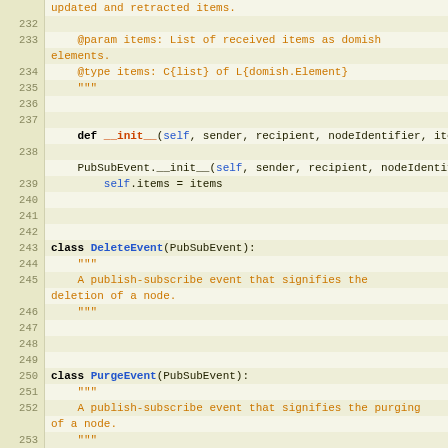[Figure (screenshot): Python source code viewer showing lines 232-259 with syntax highlighting. Code includes docstrings, class definitions for DeleteEvent, PurgeEvent, and PubSubClient, and method definitions with orange/brown docstring text and blue class/keyword names.]